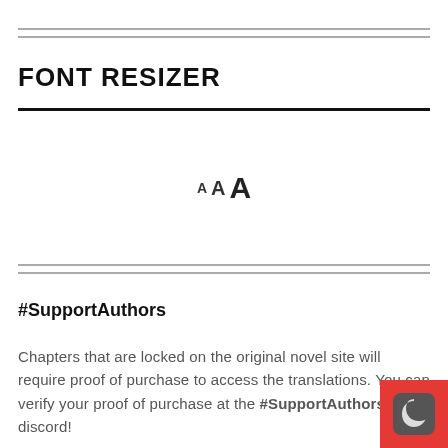FONT RESIZER
[Figure (other): Font resizer UI showing three letter A's in increasing sizes: small A, medium A, large A]
#SupportAuthors
Chapters that are locked on the original novel site will require proof of purchase to access the translations. You can verify your proof of purchase at the #SupportAuthors discord!